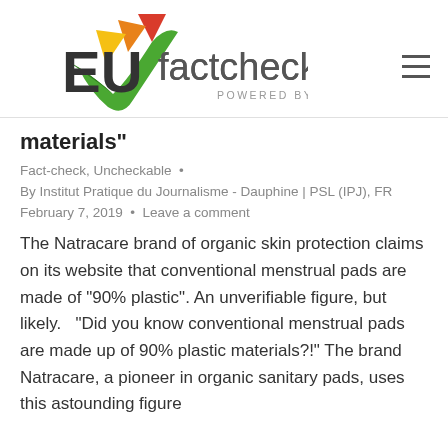[Figure (logo): EUfactcheck.eu logo with colorful checkmark/arrow icon, POWERED BY EJTA subtitle]
materials”
Fact-check, Uncheckable •
By Institut Pratique du Journalisme - Dauphine | PSL (IPJ), FR
February 7, 2019 • Leave a comment
The Natracare brand of organic skin protection claims on its website that conventional menstrual pads are made of “90% plastic”. An unverifiable figure, but likely. “Did you know conventional menstrual pads are made up of 90% plastic materials?!” The brand Natracare, a pioneer in organic sanitary pads, uses this astounding figure